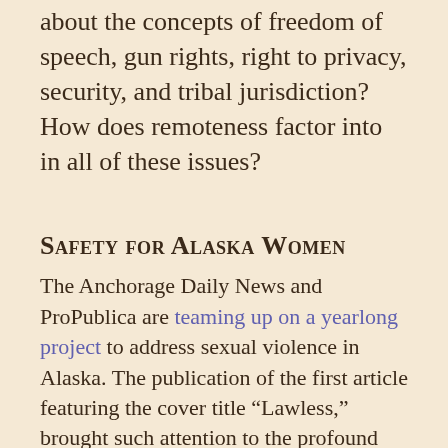about the concepts of freedom of speech, gun rights, right to privacy, security, and tribal jurisdiction? How does remoteness factor into in all of these issues?
Safety for Alaska Women
The Anchorage Daily News and ProPublica are teaming up on a yearlong project to address sexual violence in Alaska. The publication of the first article featuring the cover title “Lawless,” brought such attention to the profound problems with rural